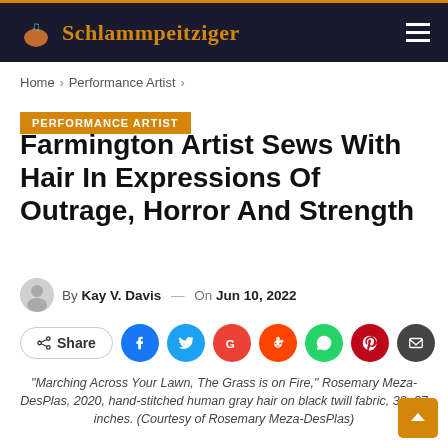Schlammpeitziger
Home > Performance Artist >
PERFORMANCE ARTIST
Farmington Artist Sews With Hair In Expressions Of Outrage, Horror And Strength
By Kay V. Davis — On Jun 10, 2022
Share
"Marching Across Your Lawn, The Grass is on Fire," Rosemary Meza-DesPlas, 2020, hand-stitched human gray hair on black twill fabric, 32×37 inches. (Courtesy of Rosemary Meza-DesPlas)